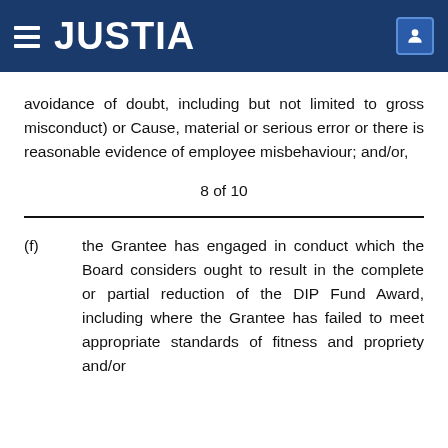JUSTIA
avoidance of doubt, including but not limited to gross misconduct) or Cause, material or serious error or there is reasonable evidence of employee misbehaviour; and/or,
8 of 10
(f)      the Grantee has engaged in conduct which the Board considers ought to result in the complete or partial reduction of the DIP Fund Award, including where the Grantee has failed to meet appropriate standards of fitness and propriety and/or